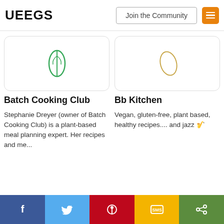UEEGS | Join the Community
[Figure (illustration): Card image for Batch Cooking Club with green leaf icon]
Batch Cooking Club
Stephanie Dreyer (owner of Batch Cooking Club) is a plant-based meal planning expert. Her recipes and me...
[Figure (illustration): Card image for Bb Kitchen with oval/ring icon]
Bb Kitchen
Vegan, gluten-free, plant based, healthy recipes.... and jazz 🎷